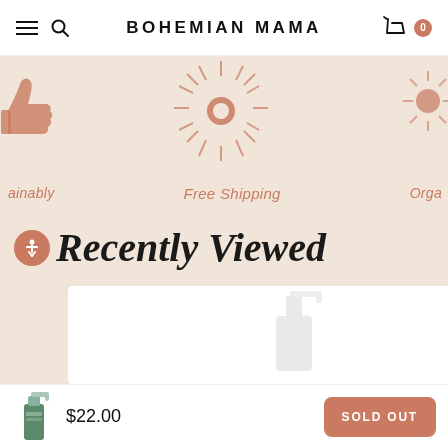BOHEMIAN MAMA
[Figure (infographic): Bohemian Mama website banner strip showing icons (thumbs up, decorative eye, sun) and text labels: 'ainably', 'Free Shipping', 'Orga' — partial scroll view of sustainability/features strip on beige background]
Recently Viewed
[Figure (screenshot): White product card area showing faint pump bottle product image — partial view of a recently viewed product]
This website uses cookies to ensure you get the best experience on our website. Learn More
$22.00
SOLD OUT